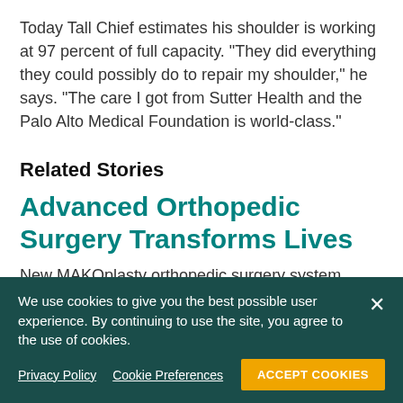Today Tall Chief estimates his shoulder is working at 97 percent of full capacity. "They did everything they could possibly do to repair my shoulder," he says. "The care I got from Sutter Health and the Palo Alto Medical Foundation is world-class."
Related Stories
Advanced Orthopedic Surgery Transforms Lives
New MAKOplasty orthopedic surgery system funded
We use cookies to give you the best possible user experience. By continuing to use the site, you agree to the use of cookies.
Privacy Policy   Cookie Preferences   ACCEPT COOKIES